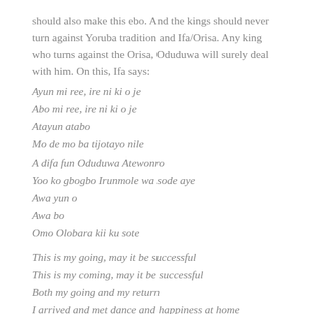should also make this ebo. And the kings should never turn against Yoruba tradition and Ifa/Orisa. Any king who turns against the Orisa, Oduduwa will surely deal with him. On this, Ifa says:
Ayun mi ree, ire ni ki o je
Abo mi ree, ire ni ki o je
Atayun atabo
Mo de mo ba tijotayo nile
A difa fun Oduduwa Atewonro
Yoo ko gbogbo Irunmole wa sode aye
Awa yun o
Awa bo
Omo Olobara kii ku sote
This is my going, may it be successful
This is my coming, may it be successful
Both my going and my return
I arrived and met dance and happiness at home
Ifa revelation to Oduduwa Atewonro